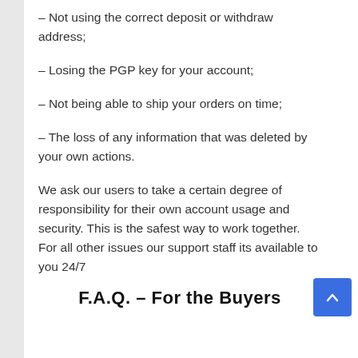– Not using the correct deposit or withdraw address;
– Losing the PGP key for your account;
– Not being able to ship your orders on time;
– The loss of any information that was deleted by your own actions.
We ask our users to take a certain degree of responsibility for their own account usage and security. This is the safest way to work together. For all other issues our support staff its available to you 24/7
F.A.Q. – For the Buyers